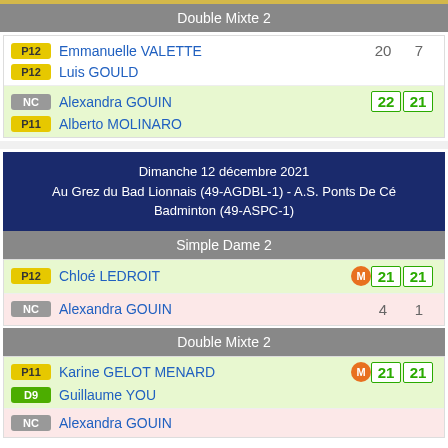Double Mixte 2
| Badge | Player | Score1 | Score2 |
| --- | --- | --- | --- |
| P12 | Emmanuelle VALETTE | 20 | 7 |
| P12 | Luis GOULD |  |  |
| NC | Alexandra GOUIN | 22 | 21 |
| P11 | Alberto MOLINARO |  |  |
| Event |
| --- |
| Dimanche 12 décembre 2021 |
| Au Grez du Bad Lionnais (49-AGDBL-1) - A.S. Ponts De Cé Badminton (49-ASPC-1) |
Simple Dame 2
| Badge | Player | Score1 | Score2 |
| --- | --- | --- | --- |
| P12 | Chloé LEDROIT [M] | 21 | 21 |
| NC | Alexandra GOUIN | 4 | 1 |
Double Mixte 2
| Badge | Player | Score1 | Score2 |
| --- | --- | --- | --- |
| P11 | Karine GELOT MENARD [M] | 21 | 21 |
| D9 | Guillaume YOU |  |  |
| NC | Alexandra GOUIN |  |  |